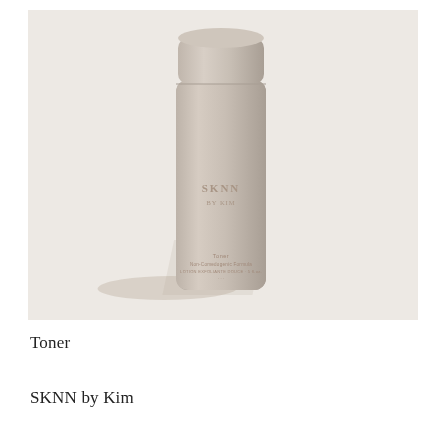[Figure (photo): SKNN by Kim Toner product in a matte taupe/beige cylindrical bottle with cap, photographed against a light beige background with soft shadow]
Toner
SKNN by Kim